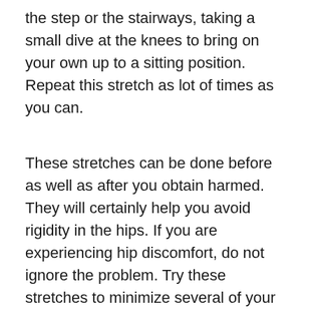the step or the stairways, taking a small dive at the knees to bring on your own up to a sitting position. Repeat this stretch as lot of times as you can.
These stretches can be done before as well as after you obtain harmed. They will certainly help you avoid rigidity in the hips. If you are experiencing hip discomfort, do not ignore the problem. Try these stretches to minimize several of your discomfort. You might be pleasantly amazed by just how much stretching as well as heat up as well as other workouts can eliminate your signs and also make you feel much better.